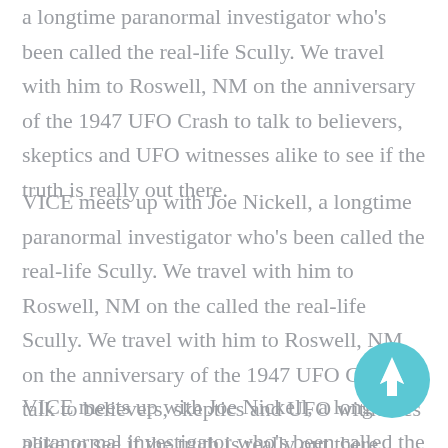a longtime paranormal investigator who's been called the real-life Scully. We travel with him to Roswell, NM on the anniversary of the 1947 UFO Crash to talk to believers, skeptics and UFO witnesses alike to see if the truth is really out there.
VICE meets up with Joe Nickell, a longtime paranormal investigator who's been called the real-life Scully. We travel with him to Roswell, NM on the called the real-life Scully. We travel with him to Roswell, NM on the anniversary of the 1947 UFO Crash to talk to believers, skeptics and UFO witnesses alike to see if the truth is really out there.
VICE meets up with Joe Nickell, a longtime paranormal investigator who's been called the